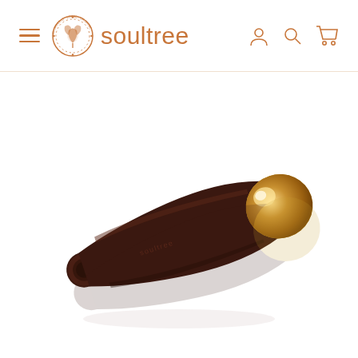soultree navigation bar with hamburger menu, logo, account, search, and cart icons
[Figure (photo): A soultree branded product — a wooden and gold-tipped roller/massager tool lying diagonally on a white background with a subtle reflection below it. The handle is dark mahogany/rosewood colored and the tip is gold-colored metal.]